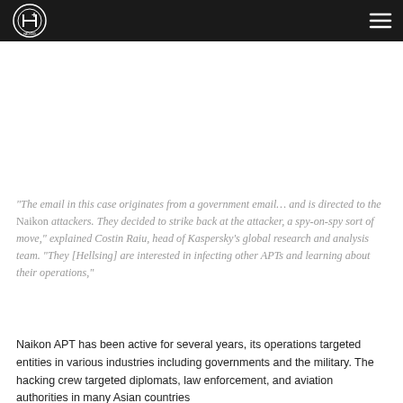[Logo] [Hamburger menu]
“The email in this case originates from a government email… and is directed to the Naikon attackers. They decided to strike back at the attacker, a spy-on-spy sort of move,” explained Costin Raiu, head of Kaspersky’s global research and analysis team. “They [Hellsing] are interested in infecting other APTs and learning about their operations,”
Naikon APT has been active for several years, its operations targeted entities in various industries including governments and the military. The hacking crew targeted diplomats, law enforcement, and aviation authorities in many Asian countries